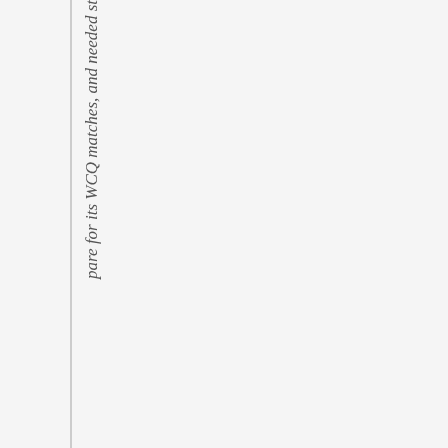pare for its WCQ matches, and needed st